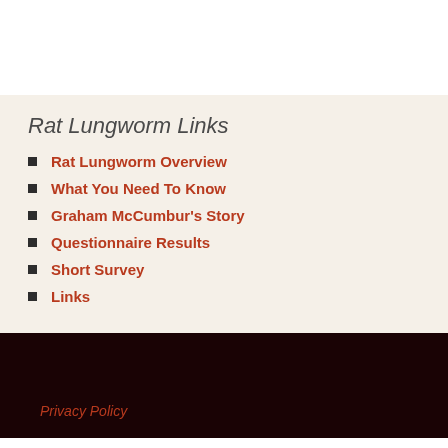Rat Lungworm Links
Rat Lungworm Overview
What You Need To Know
Graham McCumbur's Story
Questionnaire Results
Short Survey
Links
Privacy Policy